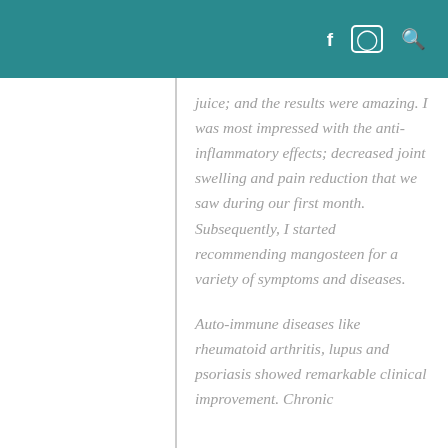f  Ⓜ  🔍
juice; and the results were amazing. I was most impressed with the anti-inflammatory effects; decreased joint swelling and pain reduction that we saw during our first month. Subsequently, I started recommending mangosteen for a variety of symptoms and diseases.
Auto-immune diseases like rheumatoid arthritis, lupus and psoriasis showed remarkable clinical improvement. Chronic